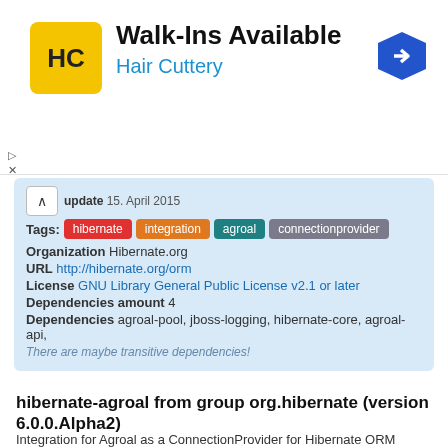[Figure (illustration): Hair Cuttery advertisement banner with logo (HC in yellow square), text 'Walk-Ins Available' and 'Hair Cuttery', and a blue hexagonal arrow icon on the right]
update 15. April 2015
Tags: hibernate  integration  agroal  connectionprovider
Organization Hibernate.org
URL http://hibernate.org/orm
License GNU Library General Public License v2.1 or later
Dependencies amount 4
Dependencies agroal-pool, jboss-logging, hibernate-core, agroal-api,
There are maybe transitive dependencies!
hibernate-agroal from group org.hibernate (version 6.0.0.Alpha2)
Integration for Agroal as a ConnectionProvider for Hibernate ORM
Group: org.hibernate   Artifact: hibernate-agroal